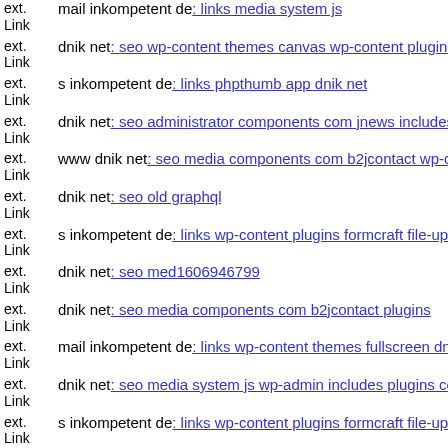ext. Link mail inkompetent de: links media system js
ext. Link dnik net: seo wp-content themes canvas wp-content plugins ca...
ext. Link s inkompetent de: links phpthumb app dnik net
ext. Link dnik net: seo administrator components com jnews includes op...
ext. Link www dnik net: seo media components com b2jcontact wp-cont...
ext. Link dnik net: seo old graphql
ext. Link s inkompetent de: links wp-content plugins formcraft file-uploa...
ext. Link dnik net: seo med1606946799
ext. Link dnik net: seo media components com b2jcontact plugins
ext. Link mail inkompetent de: links wp-content themes fullscreen dnik n...
ext. Link dnik net: seo media system js wp-admin includes plugins conte...
ext. Link s inkompetent de: links wp-content plugins formcraft file-uploa...